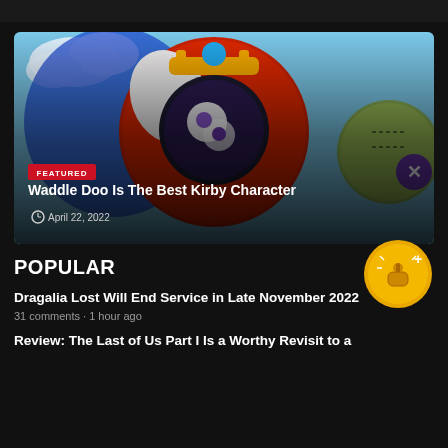[Figure (screenshot): Gaming website screenshot showing a featured article with Kirby game artwork (colorful characters including Waddle Doo with large eye), a FEATURED badge, and a POPULAR section below]
Waddle Doo Is The Best Kirby Character
April 22, 2022
POPULAR
Dragalia Lost Will End Service in Late November 2022
31 comments · 1 hour ago
Review: The Last of Us Part I Is a Worthy Revisit to a classic